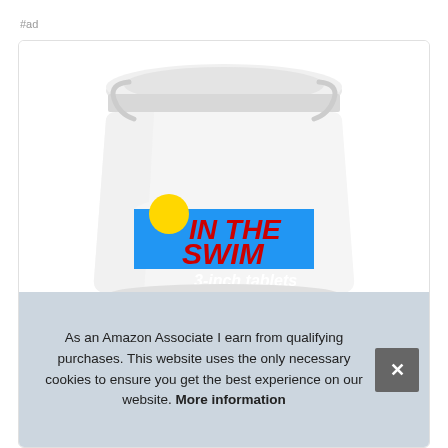#ad
[Figure (photo): White plastic bucket with lid from the brand 'In The Swim', showing their logo with a sun and wave design, labeled '3-inch tablets']
As an Amazon Associate I earn from qualifying purchases. This website uses the only necessary cookies to ensure you get the best experience on our website. More information